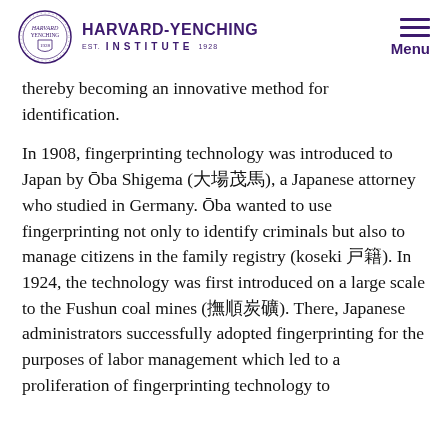HARVARD-YENCHING INSTITUTE
thereby becoming an innovative method for identification.
In 1908, fingerprinting technology was introduced to Japan by Ōba Shigema (大場茂馬), a Japanese attorney who studied in Germany. Ōba wanted to use fingerprinting not only to identify criminals but also to manage citizens in the family registry (koseki 戸籍). In 1924, the technology was first introduced on a large scale to the Fushun coal mines (撫順炭礦). There, Japanese administrators successfully adopted fingerprinting for the purposes of labor management which led to a proliferation of fingerprinting technology to